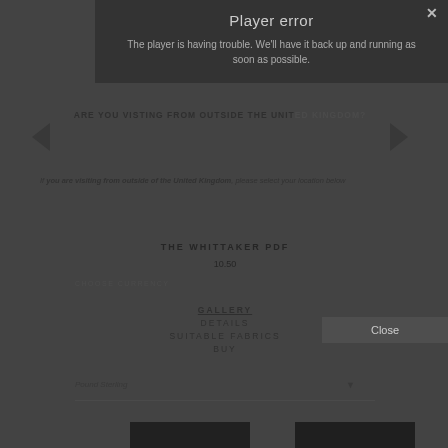Player error
The player is having trouble. We'll have it back up and running as soon as possible.
ARE YOU VISTING FROM OUTSIDE THE UNITED KINGDOM?
If you are visiting from outside of the United Kingdom, please select your location below
THE WHITTAKER PDF
10.50
CHOOSE CURRENCY
GALLERY
DETAILS
SUITABLE FABRICS
BUY
Pound Sterling
Close